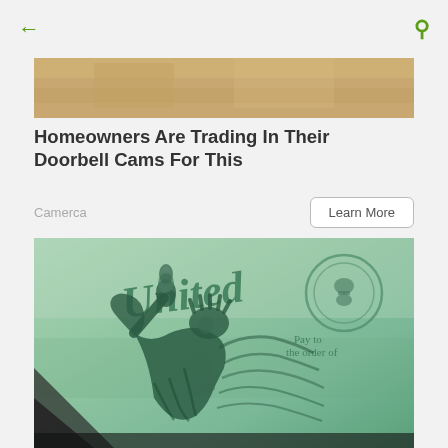← [back arrow]  [search icon]
[Figure (photo): Partial top crop of a background photo (beige/tan tones), top portion of an advertisement image]
Homeowners Are Trading In Their Doorbell Cams For This
Camerca
Learn More
[Figure (photo): Close-up photograph of a green US government stimulus check featuring an engraved image of the Statue of Liberty holding a torch, with partial text 'United', 'Pay to the order of' visible on the check surface]